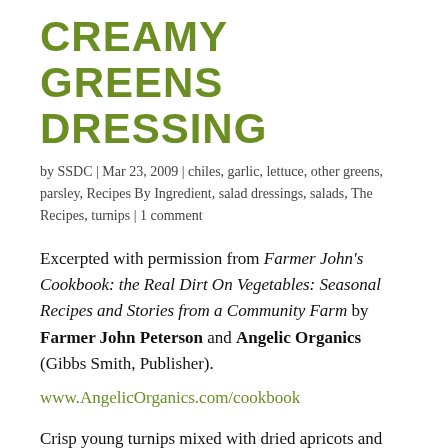CREAMY GREENS DRESSING
by SSDC | Mar 23, 2009 | chiles, garlic, lettuce, other greens, parsley, Recipes By Ingredient, salad dressings, salads, The Recipes, turnips | 1 comment
Excerpted with permission from Farmer John's Cookbook: the Real Dirt On Vegetables: Seasonal Recipes and Stories from a Community Farm by Farmer John Peterson and Angelic Organics (Gibbs Smith, Publisher). www.AngelicOrganics.com/cookbook
Crisp young turnips mixed with dried apricots and toasted walnuts, then tossed with a